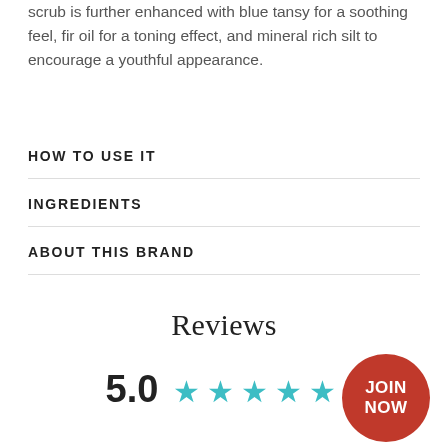scrub is further enhanced with blue tansy for a soothing feel, fir oil for a toning effect, and mineral rich silt to encourage a youthful appearance.
HOW TO USE IT
INGREDIENTS
ABOUT THIS BRAND
Reviews
5.0 ★★★★★
[Figure (other): Red circular badge with white text reading JOIN NOW]